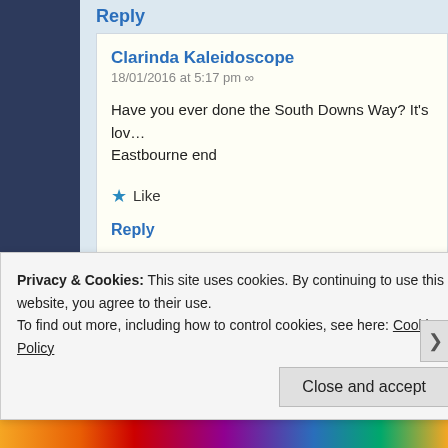Reply
Clarinda Kaleidoscope
18/01/2016 at 5:17 pm ∞
Have you ever done the South Downs Way? It's lov... Eastbourne end
★ Like
Reply
jennifersows
Privacy & Cookies: This site uses cookies. By continuing to use this website, you agree to their use.
To find out more, including how to control cookies, see here: Cookie Policy
Close and accept